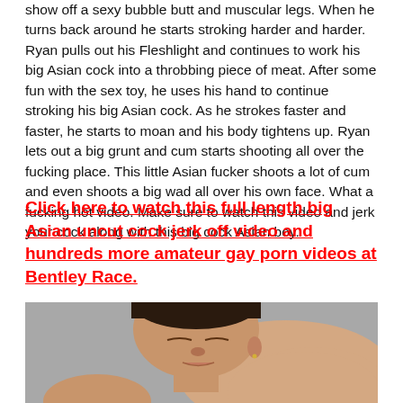show off a sexy bubble butt and muscular legs.  When he turns back around he starts stroking harder and harder.  Ryan pulls out his Fleshlight and continues to work his big Asian cock into a throbbing piece of meat.  After some fun with the sex toy, he uses his hand to continue stroking his big Asian cock.  As he strokes faster and faster, he starts to moan and his body tightens up.  Ryan lets out a big grunt and cum starts shooting all over the fucking place.   This little Asian fucker shoots a lot of cum and even shoots a big wad all over his own face.  What a fucking hot video.   Make sure to watch this video and jerk your cock along with this big cock Asian boy.
Click here to watch this full length big Asian uncut cock jerk off video and hundreds more amateur gay porn videos at Bentley Race.
[Figure (photo): Close-up photo of a shirtless young Asian man with dark hair, eyes closed, light gray background]